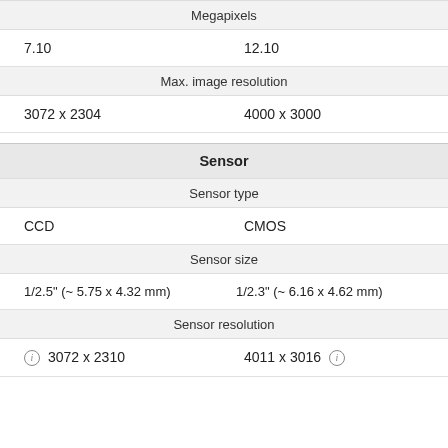|  |  |
| --- | --- |
| Megapixels |  |
| 7.10 | 12.10 |
| Max. image resolution |  |
| 3072 x 2304 | 4000 x 3000 |
| Sensor |  |
| Sensor type |  |
| CCD | CMOS |
| Sensor size |  |
| 1/2.5" (~ 5.75 x 4.32 mm) | 1/2.3" (~ 6.16 x 4.62 mm) |
| Sensor resolution |  |
| ⓘ 3072 x 2310 | 4011 x 3016 ⓘ |